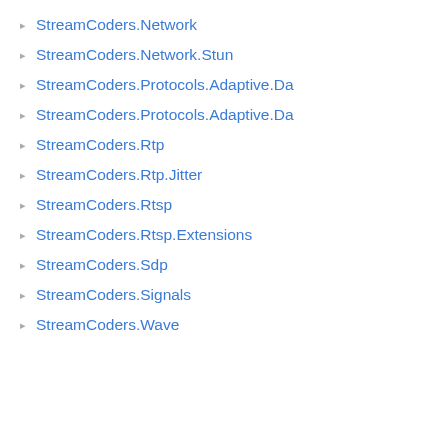StreamCoders.Network
StreamCoders.Network.Stun
StreamCoders.Protocols.Adaptive.Da...
StreamCoders.Protocols.Adaptive.Da...
StreamCoders.Rtp
StreamCoders.Rtp.Jitter
StreamCoders.Rtsp
StreamCoders.Rtsp.Extensions
StreamCoders.Sdp
StreamCoders.Signals
StreamCoders.Wave
Stre...
Time...
Trac...
Vide...
Vide...
Interfaces
| Inter... |
| --- |
| IDec... |